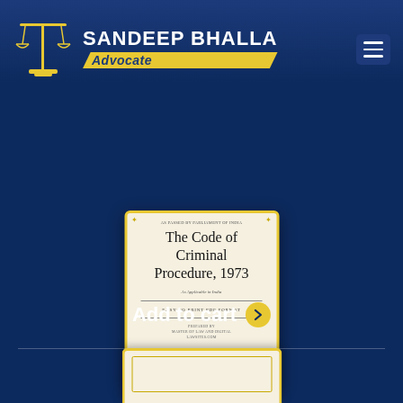[Figure (logo): Sandeep Bhalla Advocate logo with scales of justice icon, site header on dark blue background]
[Figure (illustration): Book cover for 'The Code of Criminal Procedure, 1973 - As Applicable in India' in PDF format, beige background with yellow border and decorative corners]
Add to cart
[Figure (illustration): Partially visible second book card at bottom of page]